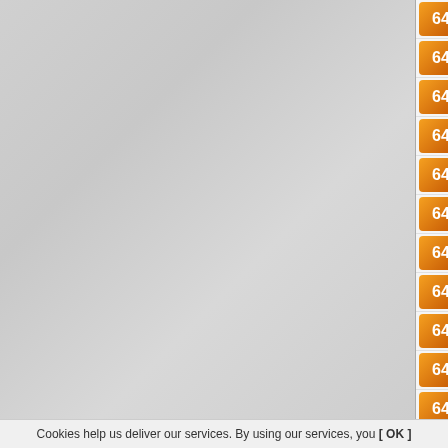64 Dirty Fences (Rock & Ro...)
64 Attila The Stockbroker (...)
64 Farben Lehre (Punk, Alte...)
64 Modern Delusion (Punk, ...)
64 Davidians (Punk, Post-Pu...)
64 Athena (Ska, Punk, Altern...)
64 Oh My Snare! (Pop Punk...)
64 Melvins (Alternative Rock...)
64 Bad Ideas (Punk, Alternat...)
64 Massendefekt (Punk, Alte...)
64 Fact (Alternative Rock, Po...)
Cookies help us deliver our services. By using our services, you [ OK ]